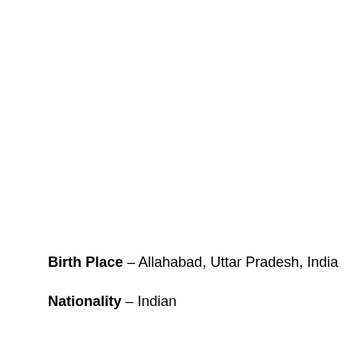Birth Place – Allahabad, Uttar Pradesh, India
Nationality – Indian